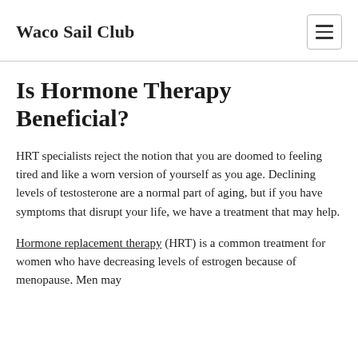Waco Sail Club
Is Hormone Therapy Beneficial?
HRT specialists reject the notion that you are doomed to feeling tired and like a worn version of yourself as you age. Declining levels of testosterone are a normal part of aging, but if you have symptoms that disrupt your life, we have a treatment that may help.
Hormone replacement therapy (HRT) is a common treatment for women who have decreasing levels of estrogen because of menopause. Men may